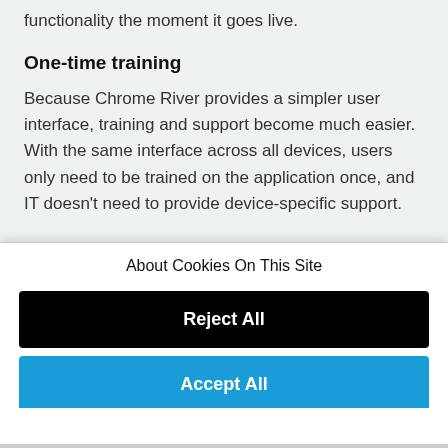functionality the moment it goes live.
One-time training
Because Chrome River provides a simpler user interface, training and support become much easier. With the same interface across all devices, users only need to be trained on the application once, and IT doesn't need to provide device-specific support.
About Cookies On This Site
Reject All
Accept All